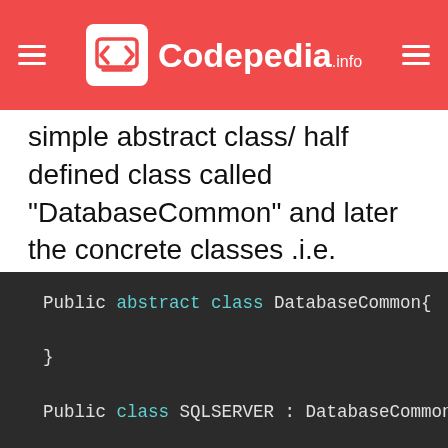Codepedia.info
simple abstract class/ half defined class called "DatabaseCommon" and later the concrete classes .i.e. "SQLServer" or "Oracle" inherit and define a complete implementation.
[Figure (screenshot): Code block showing C# abstract class DatabaseCommon and class SQLSERVER and class ORACLE inheriting from DatabaseCommon]